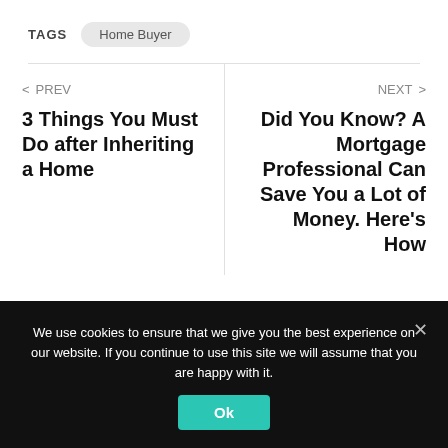TAGS   Home Buyer
< PREV
3 Things You Must Do after Inheriting a Home
NEXT >
Did You Know? A Mortgage Professional Can Save You a Lot of Money. Here's How
We use cookies to ensure that we give you the best experience on our website. If you continue to use this site we will assume that you are happy with it.
Ok